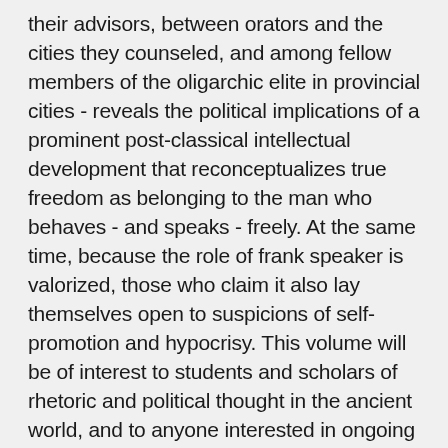their advisors, between orators and the cities they counseled, and among fellow members of the oligarchic elite in provincial cities - reveals the political implications of a prominent post-classical intellectual development that reconceptualizes true freedom as belonging to the man who behaves - and speaks - freely. At the same time, because the role of frank speaker is valorized, those who claim it also lay themselves open to suspicions of self-promotion and hypocrisy. This volume will be of interest to students and scholars of rhetoric and political thought in the ancient world, and to anyone interested in ongoing debates about intellectual freedom, limits on speech, and the advantages of presenting oneself as a truth-teller.